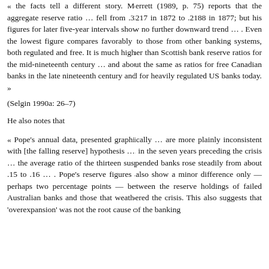« the facts tell a different story. Merrett (1989, p. 75) reports that the aggregate reserve ratio … fell from .3217 in 1872 to .2188 in 1877; but his figures for later five-year intervals show no further downward trend … . Even the lowest figure compares favorably to those from other banking systems, both regulated and free. It is much higher than Scottish bank reserve ratios for the mid-nineteenth century … and about the same as ratios for free Canadian banks in the late nineteenth century and for heavily regulated US banks today. »
(Selgin 1990a: 26–7)
He also notes that
« Pope's annual data, presented graphically … are more plainly inconsistent with [the falling reserve] hypothesis … in the seven years preceding the crisis … the average ratio of the thirteen suspended banks rose steadily from about .15 to .16 … . Pope's reserve figures also show a minor difference only — perhaps two percentage points — between the reserve holdings of failed Australian banks and those that weathered the crisis. This also suggests that 'overexpansion' was not the root cause of the banking